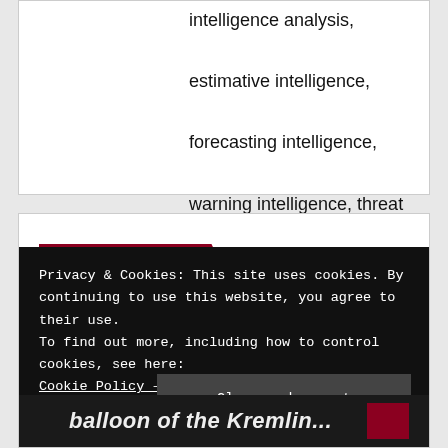intelligence analysis, estimative intelligence, forecasting intelligence, warning intelligence, threat intelligence
Related Post
Privacy & Cookies: This site uses cookies. By continuing to use this website, you agree to their use. To find out more, including how to control cookies, see here: Cookie Policy – GDPR
Close and accept
balloon of the Kremlin...